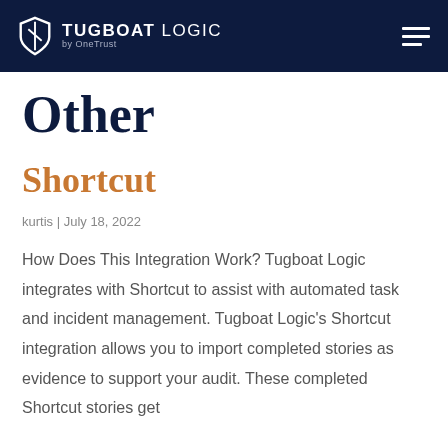TUGBOAT LOGIC by OneTrust
Other
Shortcut
kurtis | July 18, 2022
How Does This Integration Work? Tugboat Logic integrates with Shortcut to assist with automated task and incident management. Tugboat Logic's Shortcut integration allows you to import completed stories as evidence to support your audit. These completed Shortcut stories get